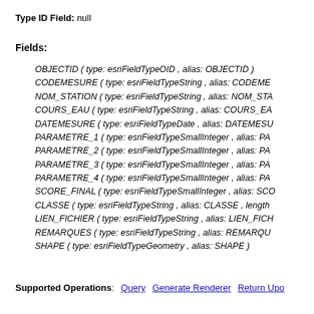Type ID Field: null
Fields:
OBJECTID ( type: esriFieldTypeOID , alias: OBJECTID )
CODEMESURE ( type: esriFieldTypeString , alias: CODEME...
NOM_STATION ( type: esriFieldTypeString , alias: NOM_STA...
COURS_EAU ( type: esriFieldTypeString , alias: COURS_EA...
DATEMESURE ( type: esriFieldTypeDate , alias: DATEMESU...
PARAMETRE_1 ( type: esriFieldTypeSmallInteger , alias: PA...
PARAMETRE_2 ( type: esriFieldTypeSmallInteger , alias: PA...
PARAMETRE_3 ( type: esriFieldTypeSmallInteger , alias: PA...
PARAMETRE_4 ( type: esriFieldTypeSmallInteger , alias: PA...
SCORE_FINAL ( type: esriFieldTypeSmallInteger , alias: SCO...
CLASSE ( type: esriFieldTypeString , alias: CLASSE , length...
LIEN_FICHIER ( type: esriFieldTypeString , alias: LIEN_FICH...
REMARQUES ( type: esriFieldTypeString , alias: REMARQU...
SHAPE ( type: esriFieldTypeGeometry , alias: SHAPE )
Supported Operations: Query  Generate Renderer  Return Upo...